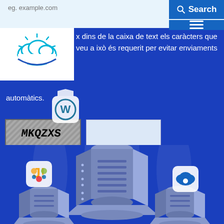[Figure (screenshot): Web page screenshot showing a navigation bar with 'eg. example.com' placeholder text, a blue Search button with magnifying glass icon, and a hamburger menu icon.]
[Figure (logo): IBM cloud logo - sun and cloud icon in blue/teal tones on white background.]
x dins de la caixa de text els caràcters que veu a ixò és requerit per evitar enviaments automàtics.
[Figure (screenshot): CAPTCHA image showing distorted text 'MKQZXS' in black on gray striped background, next to an empty white input box.]
[Figure (illustration): Isometric illustration of server stacks on a blue background with WordPress, Joomla, and cloud app icons floating around them with spotlight effects.]